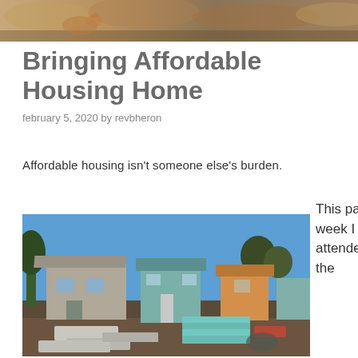[Figure (photo): Header banner photo showing a nature/outdoor scene with warm autumn colors, fox or similar animal visible]
Bringing Affordable Housing Home
february 5, 2020 by revbheron
Affordable housing isn't someone else's burden.
[Figure (photo): Construction site photo showing several small modular/tiny homes under construction under a clear blue sky, with trees in the background and concrete foundation work in the foreground]
This past week I attended the